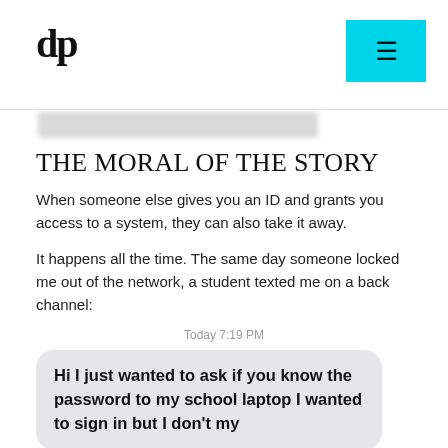dp
[Figure (screenshot): Blurred/redacted browser address bar or header text]
THE MORAL OF THE STORY
When someone else gives you an ID and grants you access to a system, they can also take it away.
It happens all the time. The same day someone locked me out of the network, a student texted me on a back channel:
Today 7:19 PM
Hi I just wanted to ask if you know the password to my school laptop I wanted to sign in but I don't my